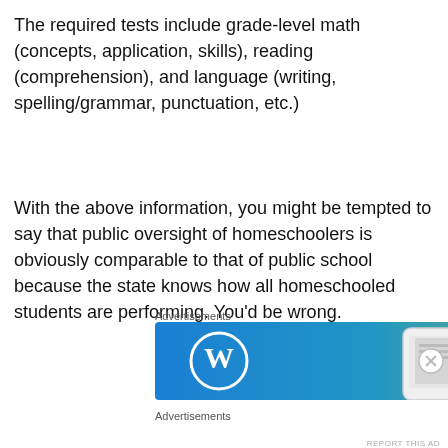The required tests include grade-level math (concepts, application, skills), reading (comprehension), and language (writing, spelling/grammar, punctuation, etc.)
With the above information, you might be tempted to say that public oversight of homeschoolers is obviously comparable to that of public school because the state knows how all homeschooled students are performing. You'd be wrong.
Advertisements
[Figure (other): WordPress advertisement banner with blue-green gradient background, WordPress logo on the left and a phone mockup on the right]
Advertisements